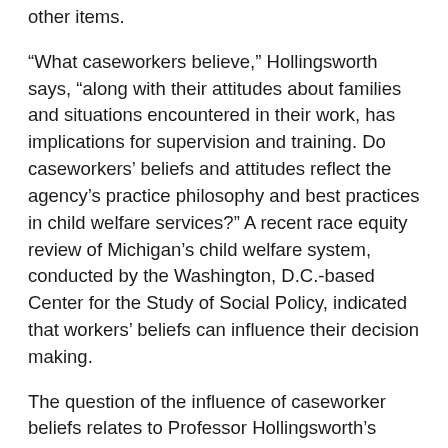other items.
“What caseworkers believe,” Hollingsworth says, “along with their attitudes about families and situations encountered in their work, has implications for supervision and training. Do caseworkers’ beliefs and attitudes reflect the agency’s practice philosophy and best practices in child welfare services?” A recent race equity review of Michigan’s child welfare system, conducted by the Washington, D.C.-based Center for the Study of Social Policy, indicated that workers’ beliefs can influence their decision making.
The question of the influence of caseworker beliefs relates to Professor Hollingsworth’s larger study that investigated parental adherence to child welfare treatment plans. Experience in public health shows that participation in developing a treatment plan increases patient adherence, and in one published child welfare study, as many as 97 percent of parents lost custody of their children when they failed to adhere to the treatment plan. In the Hollingsworth study, 61 percent of caseworkers from both groups believed the treatment plan should be developed equally between